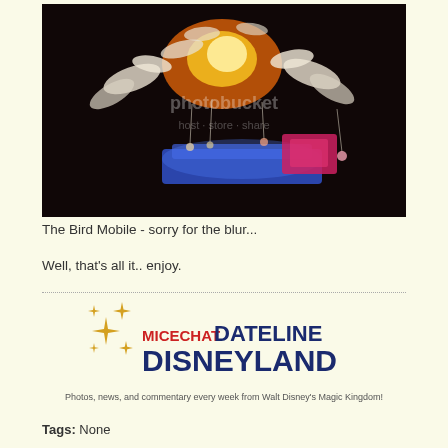[Figure (photo): A blurry nighttime photo of the 'Bird Mobile' - an illuminated parade float with decorative birds and colorful lights (blue, pink, orange, yellow) against a dark background. A photobucket watermark is visible.]
The Bird Mobile - sorry for the blur...
Well, that's all it.. enjoy.
[Figure (logo): MiceChat Dateline Disneyland logo with gold sparkle stars on the left, 'MICECHAT' in red and 'DATELINE DISNEYLAND' in dark blue large text]
Photos, news, and commentary every week from Walt Disney's Magic Kingdom!
Tags: None